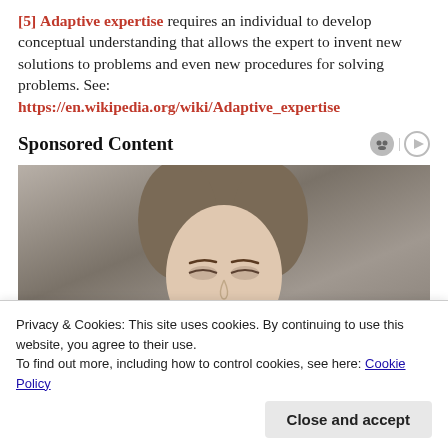[5] Adaptive expertise requires an individual to develop conceptual understanding that allows the expert to invent new solutions to problems and even new procedures for solving problems. See: https://en.wikipedia.org/wiki/Adaptive_expertise
Sponsored Content
[Figure (photo): Partial photo of a woman's face and hair against a gray textured background, cropped at the top of the page section]
Privacy & Cookies: This site uses cookies. By continuing to use this website, you agree to their use.
To find out more, including how to control cookies, see here: Cookie Policy